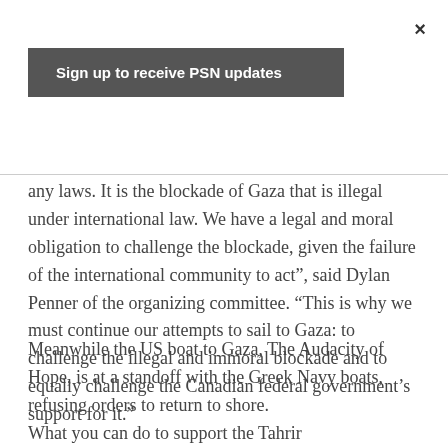×
Sign up to receive PSN updates
any laws. It is the blockade of Gaza that is illegal under international law. We have a legal and moral obligation to challenge the blockade, given the failure of the international community to act”, said Dylan Penner of the organizing committee. “This is why we must continue our attempts to sail to Gaza: to challenge the illegal and immoral blockade and to equally challenge the Canadian federal government’s support for it.”
Meanwhile the US boat to Gaza, The Audacity of Hope, is at a standoff with the Greek Navy boats, refusing orders to return to shore.
What you can do to support the Tahrir